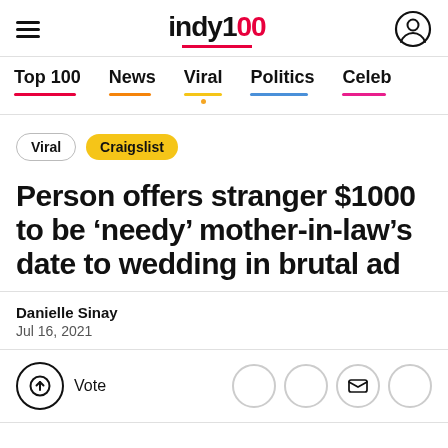indy100 — hamburger menu, logo, user icon
Top 100 | News | Viral | Politics | Celeb
Viral  Craigslist
Person offers stranger $1000 to be 'needy' mother-in-law's date to wedding in brutal ad
Danielle Sinay
Jul 16, 2021
Vote